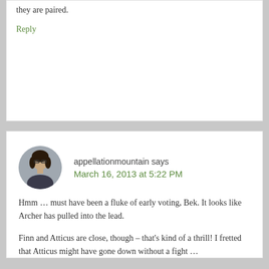they are paired.
Reply
appellationmountain says
March 16, 2013 at 5:22 PM
[Figure (photo): Circular avatar photo of a woman with dark hair and glasses]
Hmm … must have been a fluke of early voting, Bek. It looks like Archer has pulled into the lead.
Finn and Atticus are close, though – that’s kind of a thrill! I fretted that Atticus might have gone down without a fight …
Reply